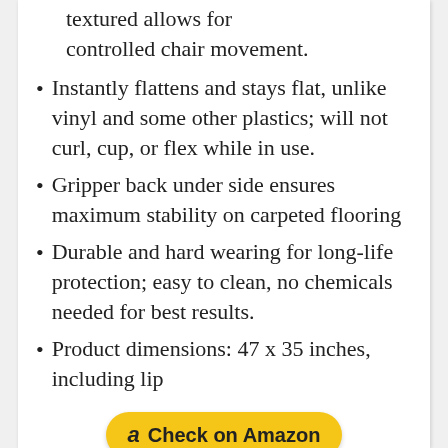textured allows for controlled chair movement.
Instantly flattens and stays flat, unlike vinyl and some other plastics; will not curl, cup, or flex while in use.
Gripper back under side ensures maximum stability on carpeted flooring
Durable and hard wearing for long-life protection; easy to clean, no chemicals needed for best results.
Product dimensions: 47 x 35 inches, including lip